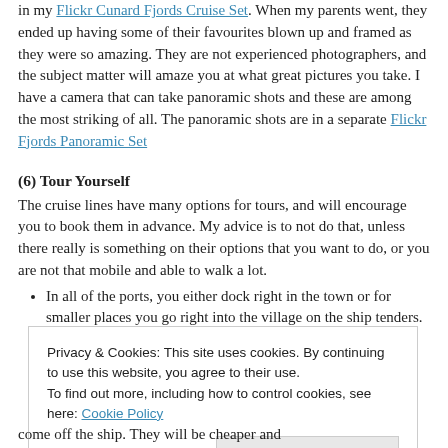in my Flickr Cunard Fjords Cruise Set. When my parents went, they ended up having some of their favourites blown up and framed as they were so amazing. They are not experienced photographers, and the subject matter will amaze you at what great pictures you take. I have a camera that can take panoramic shots and these are among the most striking of all. The panoramic shots are in a separate Flickr Fjords Panoramic Set
(6) Tour Yourself
The cruise lines have many options for tours, and will encourage you to book them in advance. My advice is to not do that, unless there really is something on their options that you want to do, or you are not that mobile and able to walk a lot.
In all of the ports, you either dock right in the town or for smaller places you go right into the village on the ship tenders. The places are small usually, like Geiranger with only
Privacy & Cookies: This site uses cookies. By continuing to use this website, you agree to their use. To find out more, including how to control cookies, see here: Cookie Policy
Close and accept
come off the ship. They will be cheaper and